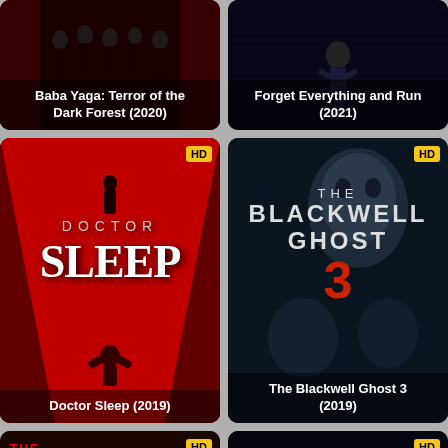[Figure (screenshot): Movie poster card for Baba Yaga: Terror of the Dark Forest (2020) with dark red/black background and silhouetted figures]
Baba Yaga: Terror of the Dark Forest (2020)
[Figure (screenshot): Movie poster card for Forget Everything and Run (2021) with dark blue background]
Forget Everything and Run (2021)
[Figure (screenshot): Doctor Sleep (2019) movie poster with red corridor background and large white DOCTOR SLEEP text. HD badge shown.]
Doctor Sleep (2019)
[Figure (screenshot): The Blackwell Ghost 3 (2019) movie poster with dark blue-grey tones and creepy faces. HD badge shown.]
The Blackwell Ghost 3 (2019)
[Figure (screenshot): The Slaughterhouse Killer movie poster with red text and dark horror imagery. HD badge shown.]
[Figure (screenshot): Dark movie card with children silhouettes against dark background. HD badge shown.]